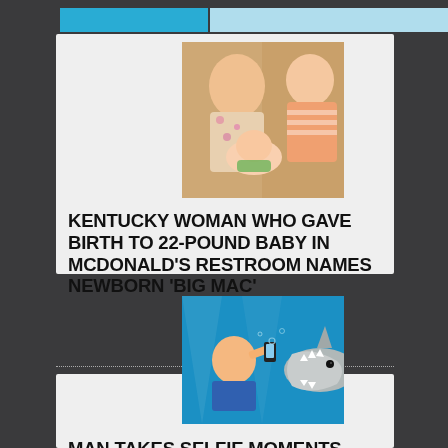[Figure (photo): Photo of a woman and man with a newborn baby]
KENTUCKY WOMAN WHO GAVE BIRTH TO 22-POUND BABY IN MCDONALD’S RESTROOM NAMES NEWBORN ‘BIG MAC’
[Figure (photo): Photo of a man taking a selfie underwater with a shark approaching from behind]
MAN TAKES SELFIE MOMENTS BEFORE DEADLY SHARK ATTACK